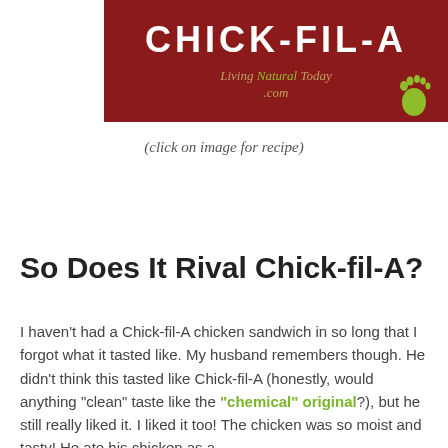[Figure (logo): Dark red banner with CHICK-FIL-A text in white bold letters, subtitle 'Living Natural Today .com' in italic with a green footprint icon on the right]
(click on image for recipe)
So Does It Rival Chick-fil-A?
I haven't had a Chick-fil-A chicken sandwich in so long that I forgot what it tasted like. My husband remembers though. He didn't think this tasted like Chick-fil-A (honestly, would anything "clean" taste like the "chemical" original?), but he still really liked it. I liked it too! The chicken was so moist and tasty! He ate his chicken as a